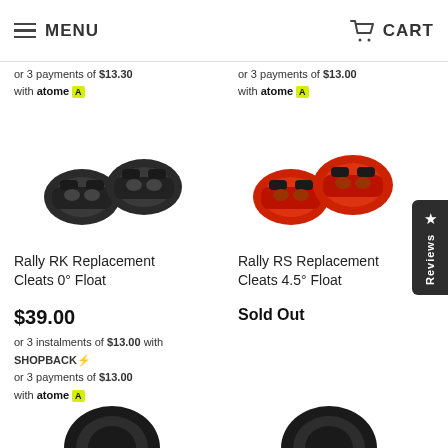MENU  CART
or 3 instalments of $13.30 with SHOPBACK or 3 payments of $13.30 with atome
or 3 instalments of $13.00 with SHOPBACK or 3 payments of $13.00 with atome
[Figure (photo): Two black Rally RK replacement cleats]
Rally RK Replacement Cleats 0° Float
$39.00
or 3 instalments of $13.00 with SHOPBACK or 3 payments of $13.00 with atome
[Figure (photo): Two red Rally RS replacement cleats]
Rally RS Replacement Cleats 4.5° Float
Sold Out
[Figure (photo): Bottom partial — two dark circular bicycle wheel/cleat parts (left column)]
[Figure (photo): Bottom partial — two dark circular bicycle wheel/cleat parts (right column)]